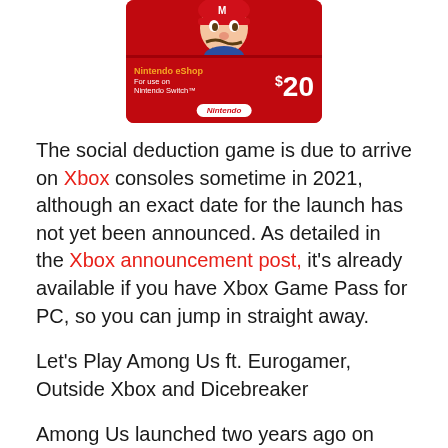[Figure (illustration): Nintendo eShop $20 gift card for Nintendo Switch, showing a character (Mario) on a red card background with the Nintendo logo and orange 'Nintendo eShop' text.]
The social deduction game is due to arrive on Xbox consoles sometime in 2021, although an exact date for the launch has not yet been announced. As detailed in the Xbox announcement post, it's already available if you have Xbox Game Pass for PC, so you can jump in straight away.
Let's Play Among Us ft. Eurogamer, Outside Xbox and Dicebreaker
Among Us launched two years ago on mobile devices and PC, but it was only this year that the game took off in a big way – assumedly because people were looking for something more interesting to do on all those lockdown